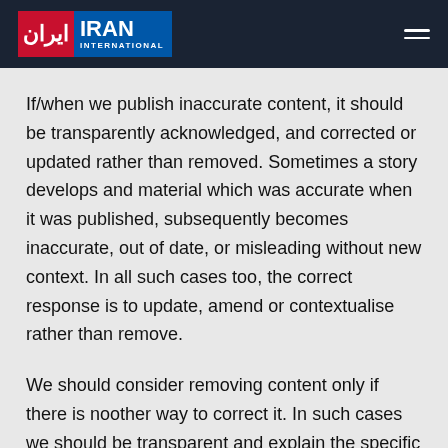Iran International
If/when we publish inaccurate content, it should be transparently acknowledged, and corrected or updated rather than removed. Sometimes a story develops and material which was accurate when it was published, subsequently becomes inaccurate, out of date, or misleading without new context. In all such cases too, the correct response is to update, amend or contextualise rather than remove.
We should consider removing content only if there is noother way to correct it. In such cases we should be transparent and explain the specific reason for removing or replacing it.